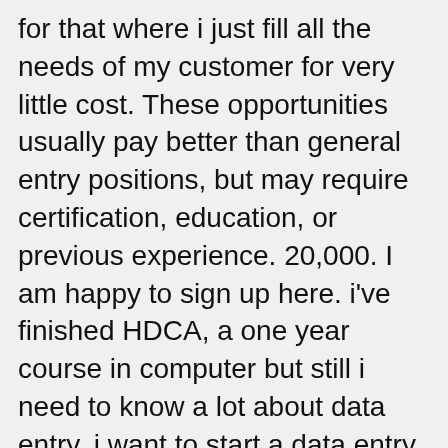for that where i just fill all the needs of my customer for very little cost. These opportunities usually pay better than general entry positions, but may require certification, education, or previous experience. 20,000. I am happy to sign up here. i've finished HDCA, a one year course in computer but still i need to know a lot about data entry. i want to start a data entry firm, but i have a very little idea about all this, so i want a good suggestion. For example, you can give 2 jungle wood planks to the nearest player with the following command: /give @p planks 2 3. Like I said, this webpage convinced me, well to make the long story short. where can i get work in bulk? No definitions found in this file. This, includes data entry jobs especially those that, ask *you* for money!